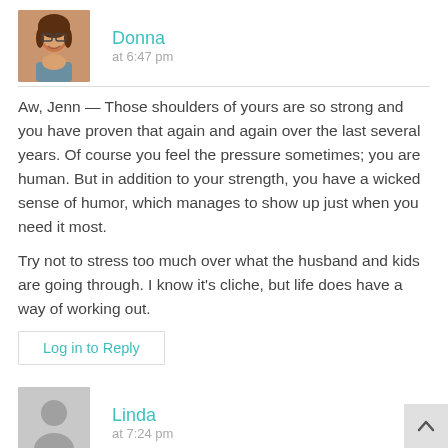[Figure (photo): Profile photo of Donna, a woman with brown hair and glasses, smiling]
Donna
at 6:47 pm
Aw, Jenn — Those shoulders of yours are so strong and you have proven that again and again over the last several years. Of course you feel the pressure sometimes; you are human. But in addition to your strength, you have a wicked sense of humor, which manages to show up just when you need it most.
Try not to stress too much over what the husband and kids are going through. I know it's cliche, but life does have a way of working out.
Log in to Reply
[Figure (illustration): Generic grey avatar placeholder for user Linda]
Linda
at 7:24 pm
You know, you say you can't share the burden because you wouldn't